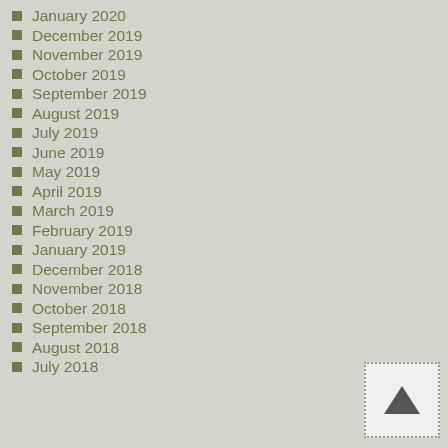January 2020
December 2019
November 2019
October 2019
September 2019
August 2019
July 2019
June 2019
May 2019
April 2019
March 2019
February 2019
January 2019
December 2018
November 2018
October 2018
September 2018
August 2018
July 2018
[Figure (other): Scroll up button with triangle/arrow icon]